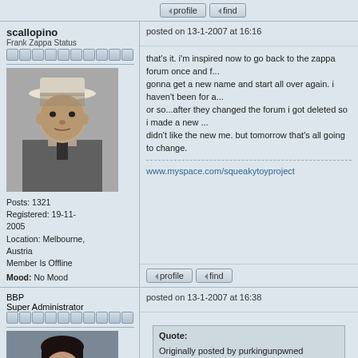[Figure (screenshot): Forum post buttons (profile, find) at top]
scallopino
Frank Zappa Status
posted on 13-1-2007 at 16:16
[Figure (photo): Black and white photo of man in cowboy hat (Hank Williams style)]
Posts: 1321
Registered: 19-11-2005
Location: Melbourne, Austria
Member Is Offline
Mood: No Mood
that's it. i'm inspired now to go back to the zappa forum once and f... gonna get a new name and start all over again. i haven't been for a... or so...after they changed the forum i got deleted so i made a new ... didn't like the new me. but tomorrow that's all going to change.
www.myspace.com/squeakytoyproject
BBP
Super Administrator
posted on 13-1-2007 at 16:38
[Figure (photo): Photo of person with long dark hair]
Quote:
Originally posted by purkingunpwned
Profile and Find buttons